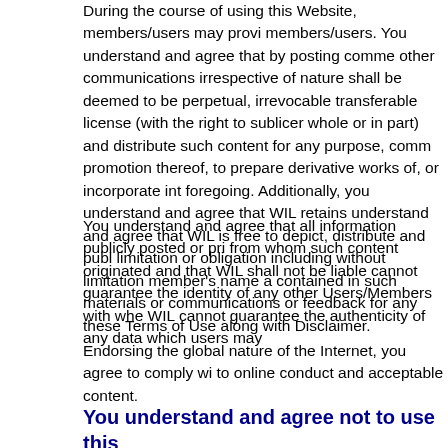During the course of using this Website, members/users may provi members/users. You understand and agree that by posting comme other communications irrespective of nature shall be deemed to be perpetual, irrevocable transferable license (with the right to sublicer whole or in part) and distribute such content for any purpose, comm promotion thereof, to prepare derivative works of, or incorporate int foregoing. Additionally, you understand and agree that WIL retains understand and agree that WIL is free to depict, distribute and publ limitation or obligation including without limitation member's name a contained in such materials or communications or feedback for any these Terms of Use along with Disclaimer.
You understand and agree that all information publicly posted or pri from whom such content originated and that WIL shall not be liable cannot guarantee the identity of any other Users/Members with whe WIL cannot guarantee the authenticity of any data which users may
Endorsing the global nature of the Internet, you agree to comply wi to online conduct and acceptable content.
You understand and agree not to use this